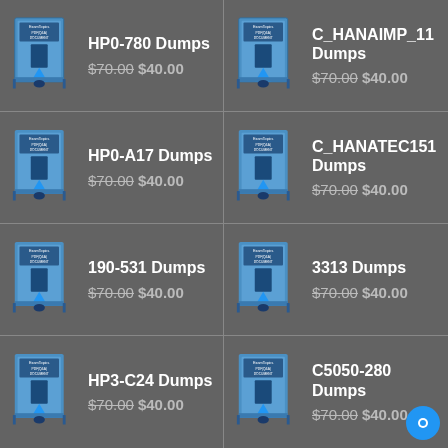[Figure (illustration): PDF document study guide book product image]
HP0-780 Dumps
$70.00 $40.00
[Figure (illustration): PDF document study guide book product image]
C_HANAIMP_11 Dumps
$70.00 $40.00
[Figure (illustration): PDF document study guide book product image]
HP0-A17 Dumps
$70.00 $40.00
[Figure (illustration): PDF document study guide book product image]
C_HANATEC151 Dumps
$70.00 $40.00
[Figure (illustration): PDF document study guide book product image]
190-531 Dumps
$70.00 $40.00
[Figure (illustration): PDF document study guide book product image]
3313 Dumps
$70.00 $40.00
[Figure (illustration): PDF document study guide book product image]
HP3-C24 Dumps
$70.00 $40.00
[Figure (illustration): PDF document study guide book product image]
C5050-280 Dumps
$70.00 $40.00